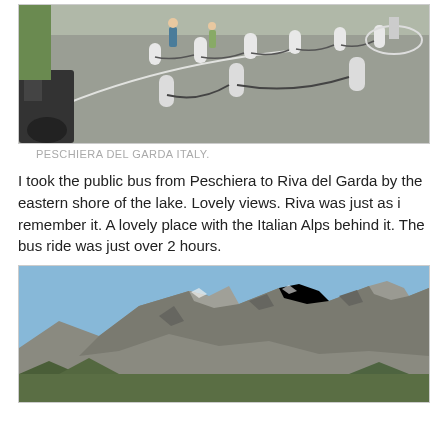[Figure (photo): Street scene at Peschiera del Garda Italy showing white bollards connected by dark chains forming a pedestrian zone, with people walking and a motorbike on the left side]
PESCHIERA DEL GARDA ITALY.
I took the public bus from Peschiera to Riva del Garda by the eastern shore of the lake. Lovely views. Riva was just as i remember it. A lovely place with the Italian Alps behind it. The bus ride was just over 2 hours.
[Figure (photo): Photograph of rugged rocky mountain peaks of the Italian Alps under a clear blue sky, taken near Riva del Garda]